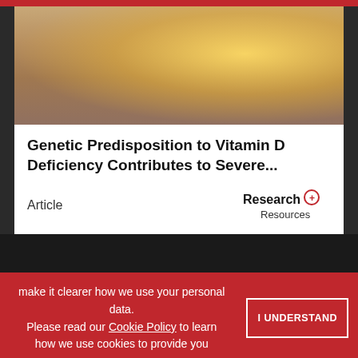[Figure (photo): Sunlit outdoor photo, warm golden tones, person in sunlight outdoors]
Genetic Predisposition to Vitamin D Deficiency Contributes to Severe...
Article
[Figure (logo): Research+ Resources logo]
make it clearer how we use your personal data. Please read our Cookie Policy to learn how we use cookies to provide you
I UNDERSTAND
[Figure (infographic): OriGene Special Offer advertisement - Primary Antibody Samples 30 ul for $99/€99, Learn More button]
ADVERTISEMENT